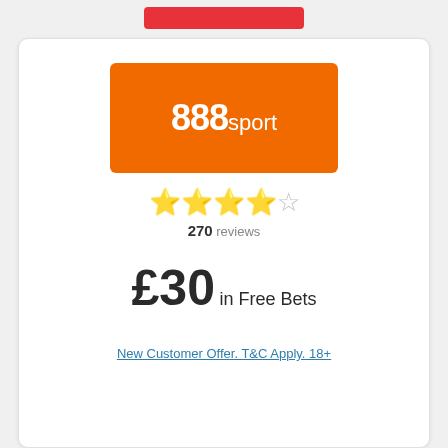[Figure (logo): 888sport logo on orange background]
270 reviews (4.5 stars)
£30 in Free Bets
New Customer Offer. T&C Apply. 18+
Read Our Review ›